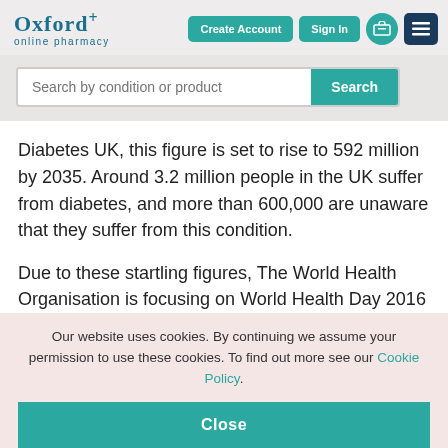[Figure (logo): Oxford+ online pharmacy logo in teal/blue]
[Figure (screenshot): Navigation buttons: Create Account, Sign In, cart icon, menu icon]
[Figure (screenshot): Search bar with placeholder 'Search by condition or product' and Search button]
Diabetes UK, this figure is set to rise to 592 million by 2035. Around 3.2 million people in the UK suffer from diabetes, and more than 600,000 are unaware that they suffer from this condition.
Due to these startling figures, The World Health Organisation is focusing on World Health Day 2016 on
Our website uses cookies. By continuing we assume your permission to use these cookies. To find out more see our Cookie Policy.
Close